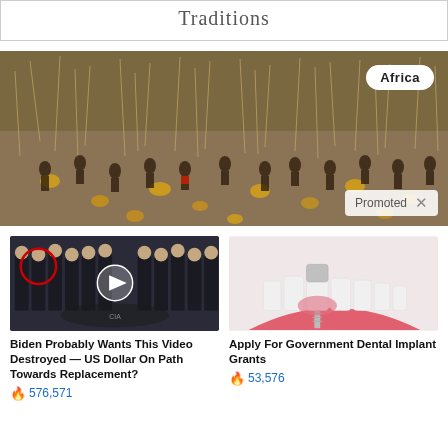Traditions
[Figure (photo): Large crowd of people in a field with dry vegetation and yellow gourds scattered around; Africa badge in top right corner; Promoted label in bottom right]
[Figure (photo): Video thumbnail showing men in suits at CIA headquarters with a red circle highlighting one person and a play button overlay]
Biden Probably Wants This Video Destroyed — US Dollar On Path Towards Replacement?
576,571
[Figure (photo): Medical illustration of dental implants showing teeth cross-section with implant screw]
Apply For Government Dental Implant Grants
53,576